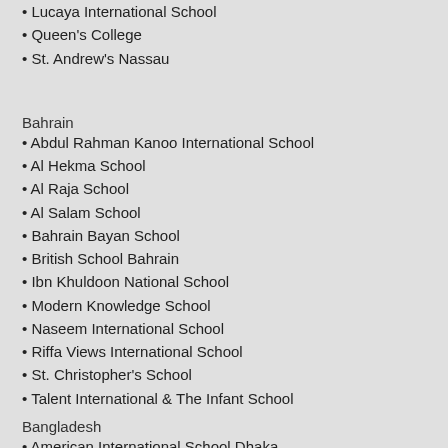• Lucaya International School
• Queen's College
• St. Andrew's Nassau
Bahrain
• Abdul Rahman Kanoo International School
• Al Hekma School
• Al Raja School
• Al Salam School
• Bahrain Bayan School
• British School Bahrain
• Ibn Khuldoon National School
• Modern Knowledge School
• Naseem International School
• Riffa Views International School
• St. Christopher's School
• Talent International & The Infant School
Bangladesh
• American International School Dhaka
• Australian International School
• Canadian International School
• Canadian Trillinium School Dhaka